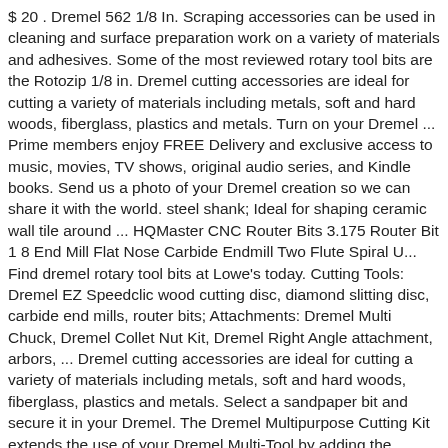$ 20 . Dremel 562 1/8 In. Scraping accessories can be used in cleaning and surface preparation work on a variety of materials and adhesives. Some of the most reviewed rotary tool bits are the Rotozip 1/8 in. Dremel cutting accessories are ideal for cutting a variety of materials including metals, soft and hard woods, fiberglass, plastics and metals. Turn on your Dremel ... Prime members enjoy FREE Delivery and exclusive access to music, movies, TV shows, original audio series, and Kindle books. Send us a photo of your Dremel creation so we can share it with the world. steel shank; Ideal for shaping ceramic wall tile around ... HQMaster CNC Router Bits 3.175 Router Bit 1 8 End Mill Flat Nose Carbide Endmill Two Flute Spiral U... Find dremel rotary tool bits at Lowe's today. Cutting Tools: Dremel EZ Speedclic wood cutting disc, diamond slitting disc, carbide end mills, router bits; Attachments: Dremel Multi Chuck, Dremel Collet Nut Kit, Dremel Right Angle attachment, arbors, ... Dremel cutting accessories are ideal for cutting a variety of materials including metals, soft and hard woods, fiberglass, plastics and metals. Select a sandpaper bit and secure it in your Dremel. The Dremel Multipurpose Cutting Kit extends the use of your Dremel Multi-Tool by adding the freedom of cutting into a wide range of materials. Cuts ceramic wall tile, cement board and plaster (not for use on floor tile) High-speed cutter with 1/8 In. Versatile enough to slice through wood, plastics, metal and more, Dremel saws are a portable, precise solution for cutting just ... The Dremel Multi-Tool System range includes diverse tools, useful accessories (including